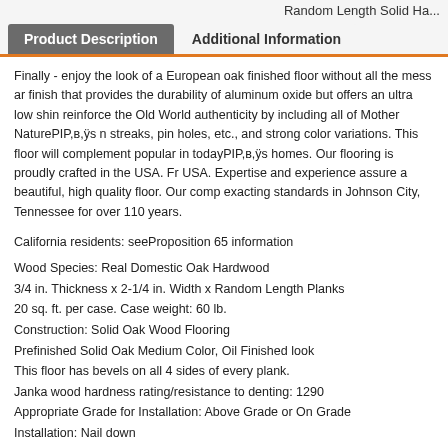Random Length Solid Ha...
Product Description | Additional Information
Finally - enjoy the look of a European oak finished floor without all the mess and finish that provides the durability of aluminum oxide but offers an ultra low shine reinforce the Old World authenticity by including all of Mother NaturePIP,в,ÿs marks streaks, pin holes, etc., and strong color variations. This floor will complement popular in todayPIP,в,ÿs homes. Our flooring is proudly crafted in the USA. From USA. Expertise and experience assure a beautiful, high quality floor. Our company exacting standards in Johnson City, Tennessee for over 110 years.
California residents: seeProposition 65 information
Wood Species: Real Domestic Oak Hardwood
3/4 in. Thickness x 2-1/4 in. Width x Random Length Planks
20 sq. ft. per case. Case weight: 60 lb.
Construction: Solid Oak Wood Flooring
Prefinished Solid Oak Medium Color, Oil Finished look
This floor has bevels on all 4 sides of every plank.
Janka wood hardness rating/resistance to denting: 1290
Appropriate Grade for Installation: Above Grade or On Grade
Installation: Nail down
30 year finish guarantee and lifetime structural guarantee for home owner...